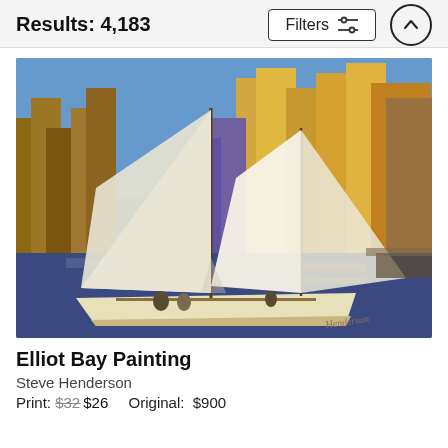Results: 4,183
[Figure (photo): Elliot Bay Painting by Steve Henderson — oil painting of a two-masted sailboat with large white sails on a harbor with a city skyline (golden skyscrapers) in the background, painted in impressionist style, signed by the artist in the lower right corner.]
Elliot Bay Painting
Steve Henderson
Print: $32 $26   Original: $900